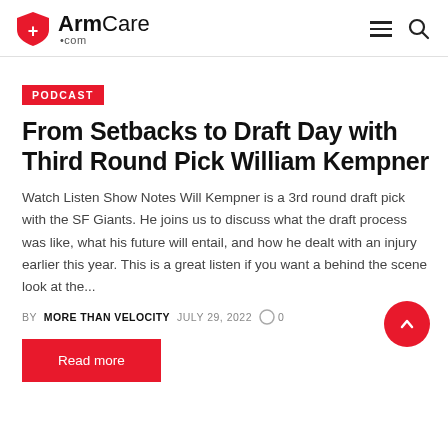ArmCare.com
PODCAST
From Setbacks to Draft Day with Third Round Pick William Kempner
Watch Listen Show Notes Will Kempner is a 3rd round draft pick with the SF Giants. He joins us to discuss what the draft process was like, what his future will entail, and how he dealt with an injury earlier this year. This is a great listen if you want a behind the scene look at the...
BY MORE THAN VELOCITY   JULY 29, 2022   0
Read more